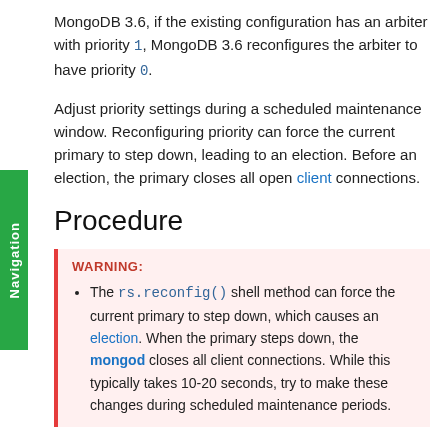MongoDB 3.6, if the existing configuration has an arbiter with priority 1, MongoDB 3.6 reconfigures the arbiter to have priority 0.
Adjust priority settings during a scheduled maintenance window. Reconfiguring priority can force the current primary to step down, leading to an election. Before an election, the primary closes all open client connections.
Procedure
WARNING: The rs.reconfig() shell method can force the current primary to step down, which causes an election. When the primary steps down, the mongod closes all client connections. While this typically takes 10-20 seconds, try to make these changes during scheduled maintenance periods. Avoid reconfiguring a running primary.